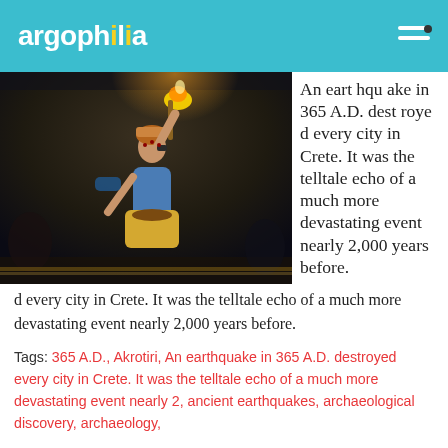argophilia
[Figure (photo): A woman in ancient costume raising a torch or object above her head, dark dramatic scene.]
An earthquake in 365 A.D. destroyed every city in Crete. It was the telltale echo of a much more devastating event nearly 2,000 years before.
Tags: 365 A.D., Akrotiri, An earthquake in 365 A.D. destroyed every city in Crete. It was the telltale echo of a much more devastating event nearly 2, ancient earthquakes, archaeological discovery, archaeology,